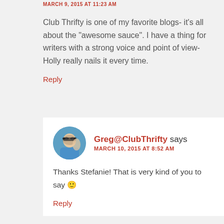MARCH 9, 2015 AT 11:23 AM
Club Thrifty is one of my favorite blogs- it's all about the “awesome sauce”. I have a thing for writers with a strong voice and point of view- Holly really nails it every time.
Reply
[Figure (photo): Circular avatar photo of Greg and partner, man in blue shirt with sunglasses outdoors]
Greg@ClubThrifty says
MARCH 10, 2015 AT 8:52 AM
Thanks Stefanie! That is very kind of you to say 🙂
Reply